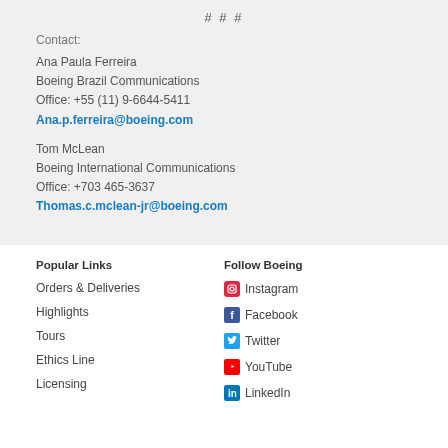# # #
Contact:
Ana Paula Ferreira
Boeing Brazil Communications
Office: +55 (11) 9-6644-5411
Ana.p.ferreira@boeing.com
Tom McLean
Boeing International Communications
Office: +703 465-3637
Thomas.c.mclean-jr@boeing.com
Popular Links
Follow Boeing
Orders & Deliveries
Instagram
Highlights
Facebook
Tours
Twitter
Ethics Line
YouTube
Licensing
LinkedIn